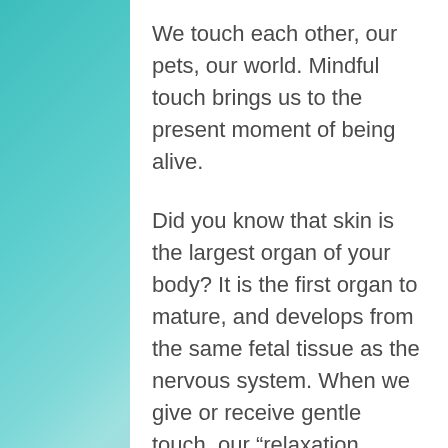We touch each other, our pets, our world. Mindful touch brings us to the present moment of being alive.
Did you know that skin is the largest organ of your body? It is the first organ to mature, and develops from the same fetal tissue as the nervous system. When we give or receive gentle touch, our “relaxation response” is engaged and our bodies benefit